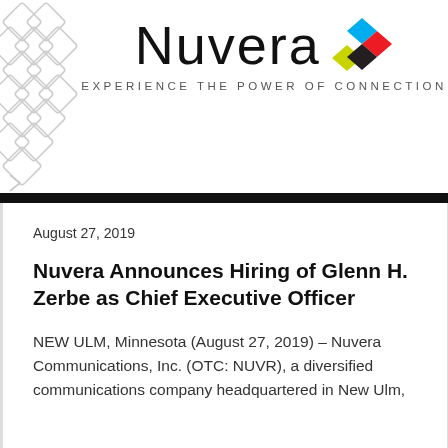[Figure (logo): Nuvera logo with colorful diamond/cross icon and tagline EXPERIENCE THE POWER OF CONNECTION]
August 27, 2019
Nuvera Announces Hiring of Glenn H. Zerbe as Chief Executive Officer
NEW ULM, Minnesota (August 27, 2019) – Nuvera Communications, Inc. (OTC: NUVR), a diversified communications company headquartered in New Ulm,